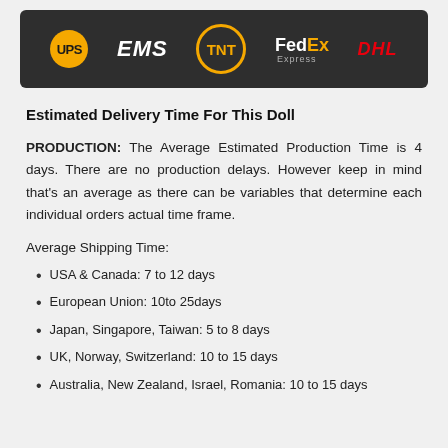[Figure (logo): Shipping carrier logos banner: UPS, EMS, TNT, FedEx Express, DHL on dark background]
Estimated Delivery Time For This Doll
PRODUCTION: The Average Estimated Production Time is 4 days. There are no production delays. However keep in mind that's an average as there can be variables that determine each individual orders actual time frame.
Average Shipping Time:
USA & Canada: 7 to 12 days
European Union: 10to 25days
Japan, Singapore, Taiwan: 5 to 8 days
UK, Norway, Switzerland: 10 to 15 days
Australia, New Zealand, Israel, Romania: 10 to 15 days